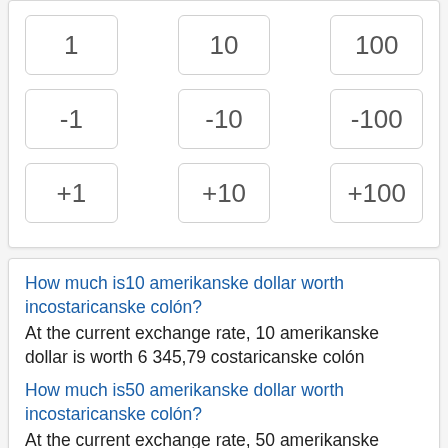[Figure (other): Grid of numeric input buttons: row 1 (1, 10, 100), row 2 (-1, -10, -100), row 3 (+1, +10, +100)]
How much is10 amerikanske dollar worth incostaricanske colón?
At the current exchange rate, 10 amerikanske dollar is worth 6 345,79 costaricanske colón
How much is50 amerikanske dollar worth incostaricanske colón?
At the current exchange rate, 50 amerikanske dollar is worth 31 728,96 costaricanske colón